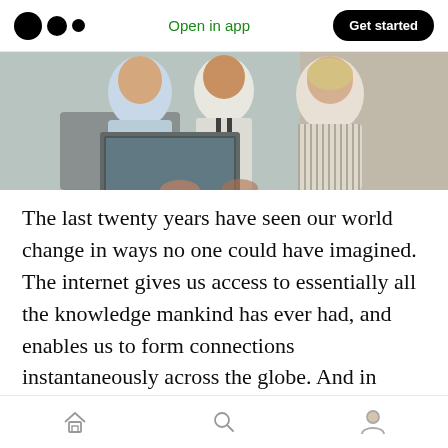Open in app | Get started
[Figure (photo): Three people (two women and one man) in a business setting looking at a laptop computer. The man in the center wears a white shirt with dark suspenders; one woman on the left wears a light blue shirt; the woman on the right wears a striped blouse. Office background visible.]
The last twenty years have seen our world change in ways no one could have imagined. The internet gives us access to essentially all the knowledge mankind has ever had, and enables us to form connections instantaneously across the globe. And in recent years, cloud computing has emerged, making it possible for us to access files and data no matter where we are.
[Home] [Search] [Profile]